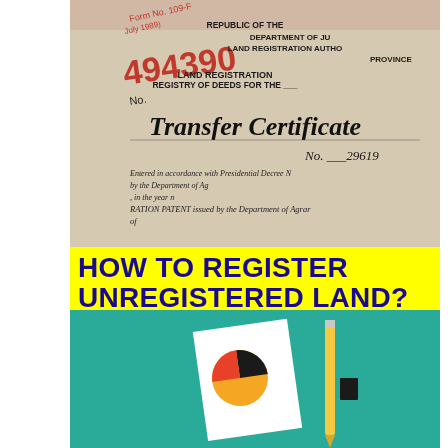[Figure (photo): Close-up photograph of a Philippine Land Registration Authority Transfer Certificate of Title document. Shows text: Form No. 109-F, July 1989, 494390, No., REPUBLIC OF THE PHILIPPINES, DEPARTMENT OF JUSTICE, LAND REGISTRATION AUTHORITY, REGISTRY OF DEEDS FOR THE ___ PROVINCE, Transfer Certificate of Title No. 29619, Entered in accordance with Presidential Decree No. ___, by the Department of Agrarian Reform, in the year ___, REGISTRATION PATENT issued by the Department of Agrarian Reform, of October, of the said Department of Agrarian Reform, REPUBLIC OF THE PHILIPPINES, OF AGRARIAN REFORM, T No.]
HOW TO REGISTER UNREGISTERED LAND?
Share
[Figure (illustration): Illustration on teal/green background showing a document with a pie chart graphic, a pencil, and a small black rectangle, representing document/registration concept.]